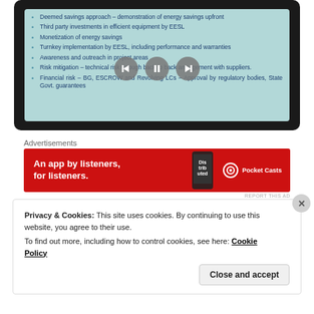[Figure (screenshot): Tablet/slide display showing a list of bullet points about EESL energy savings approach, with video playback controls overlaid]
Deemed savings approach – demonstration of energy savings upfront
Third party investments in efficient equipment by EESL
Monetization of energy savings
Turnkey implementation by EESL, including performance and warranties
Awareness and outreach in project areas
Risk mitigation – technical risk through back to back arrangement with suppliers.
Financial risk – BG, ESCROW and Revolving LCs – Approval by regulatory bodies, State Govt. guarantees
Advertisements
[Figure (screenshot): Pocket Casts advertisement banner – red background with text 'An app by listeners, for listeners.' and Pocket Casts logo]
REPORT THIS AD
Privacy & Cookies: This site uses cookies. By continuing to use this website, you agree to their use.
To find out more, including how to control cookies, see here: Cookie Policy
Close and accept